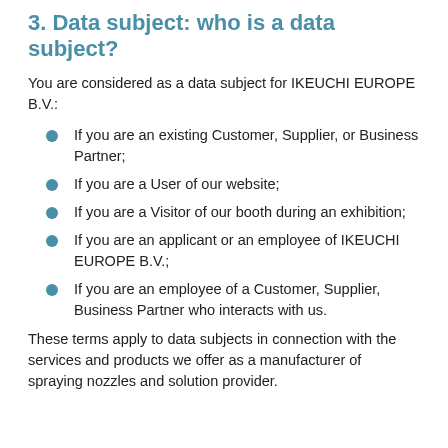3. Data subject: who is a data subject?
You are considered as a data subject for IKEUCHI EUROPE B.V.:
If you are an existing Customer, Supplier, or Business Partner;
If you are a User of our website;
If you are a Visitor of our booth during an exhibition;
If you are an applicant or an employee of IKEUCHI EUROPE B.V.;
If you are an employee of a Customer, Supplier, Business Partner who interacts with us.
These terms apply to data subjects in connection with the services and products we offer as a manufacturer of spraying nozzles and solution provider.